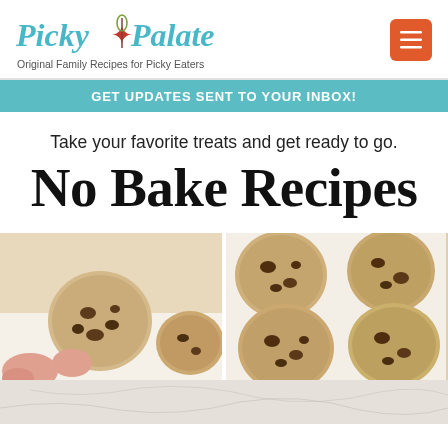[Figure (logo): Picky Palate logo with teal italic text and decorative fork/spoon icon in the middle]
Original Family Recipes for Picky Eaters
GET UPDATES SENT TO YOUR INBOX!
Take your favorite treats and get ready to go.
No Bake Recipes
[Figure (photo): Two-panel photo of chocolate chip cookies on a white surface. Left panel shows a hand pressing a cookie; right panel shows multiple cookies arranged on the surface.]
[Figure (photo): Partial bottom image showing a light marble or white surface.]